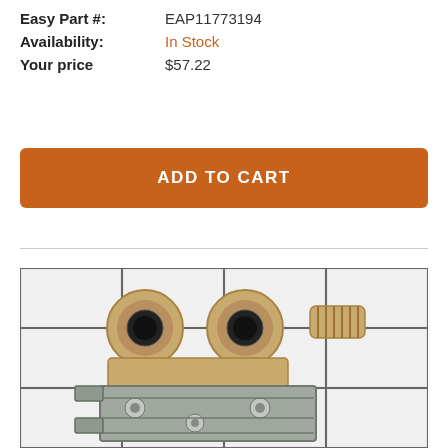Easy Part #: EAP11773194
Availability: In Stock
Your price $57.22
ADD TO CART
[Figure (photo): Product photo of a washing machine water inlet valve with two solenoid ports and threaded inlet connector, photographed on a white tile grid background. Part includes a metallic mounting bracket.]